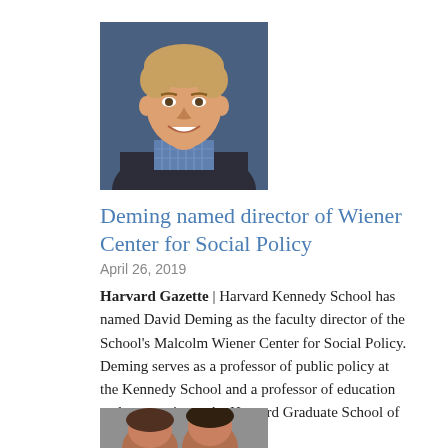[Figure (photo): Headshot of David Deming, a young man with light brown hair, smiling, wearing a blue checked shirt and dark blazer, against a dark blue background.]
Deming named director of Wiener Center for Social Policy
April 26, 2019
Harvard Gazette | Harvard Kennedy School has named David Deming as the faculty director of the School's Malcolm Wiener Center for Social Policy. Deming serves as a professor of public policy at the Kennedy School and a professor of education and economics at the Harvard Graduate School of Education.
[Figure (photo): Partial view of another photo at the bottom of the page, cropped.]